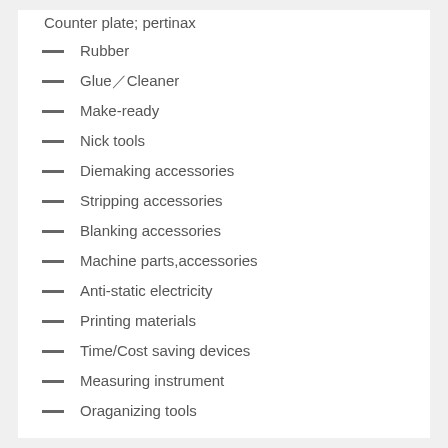Counter plate; pertinax
Rubber
Glue／Cleaner
Make-ready
Nick tools
Diemaking accessories
Stripping accessories
Blanking accessories
Machine parts,accessories
Anti-static electricity
Printing materials
Time/Cost saving devices
Measuring instrument
Oraganizing tools